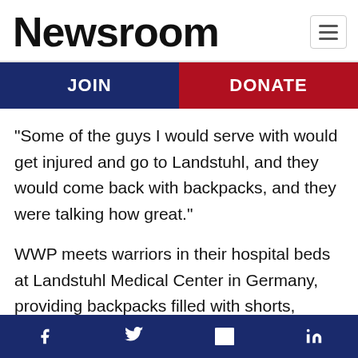Newsroom
JOIN | DONATE
“Some of the guys I would serve with would get injured and go to Landstuhl, and they would come back with backpacks, and they were talking how great.”
WWP meets warriors in their hospital beds at Landstuhl Medical Center in Germany, providing backpacks filled with shorts, shirts, socks, and other items needed when a veteran is rushed from
f    ✉  in